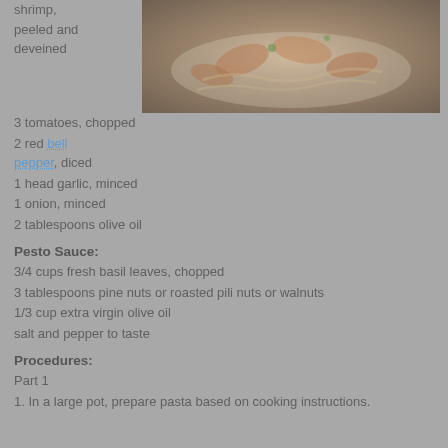shrimp, peeled and deveined
[Figure (photo): A plate of pasta with shrimp in pesto sauce, with watermark text]
3 tomatoes, chopped
2 red bell pepper, diced
1 head garlic, minced
1 onion, minced
2 tablespoons olive oil
Pesto Sauce:
3/4 cups fresh basil leaves, chopped
3 tablespoons pine nuts or roasted pili nuts or walnuts
1/3 cup extra virgin olive oil
salt and pepper to taste
Procedures:
Part 1
1. In a large pot, prepare pasta based on cooking instructions.